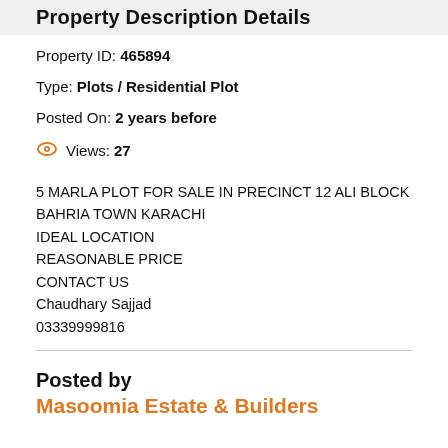Property Description Details
Property ID: 465894
Type: Plots / Residential Plot
Posted On: 2 years before
Views: 27
5 MARLA PLOT FOR SALE IN PRECINCT 12 ALI BLOCK
BAHRIA TOWN KARACHI
IDEAL LOCATION
REASONABLE PRICE
CONTACT US
Chaudhary Sajjad
03339999816
Posted by
Masoomia Estate & Builders